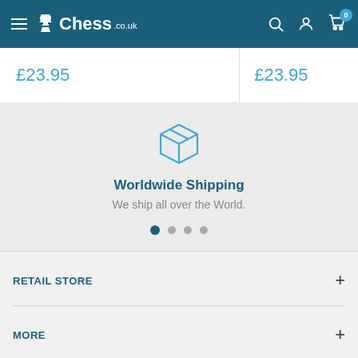Chess.co.uk navigation bar
£23.95
£23.95
[Figure (illustration): Box/package icon representing worldwide shipping]
Worldwide Shipping
We ship all over the World.
RETAIL STORE
MORE